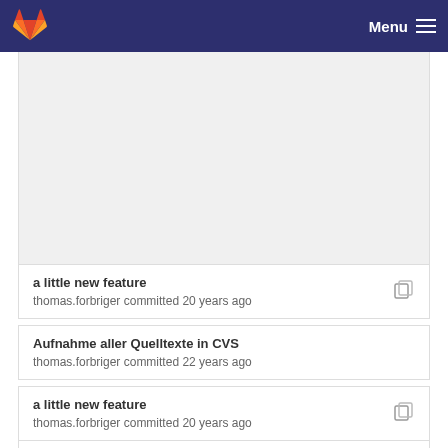GitLab — Menu
a little new feature
thomas.forbriger committed 20 years ago
Aufnahme aller Quelltexte in CVS
thomas.forbriger committed 22 years ago
a little new feature
thomas.forbriger committed 20 years ago
Imprint